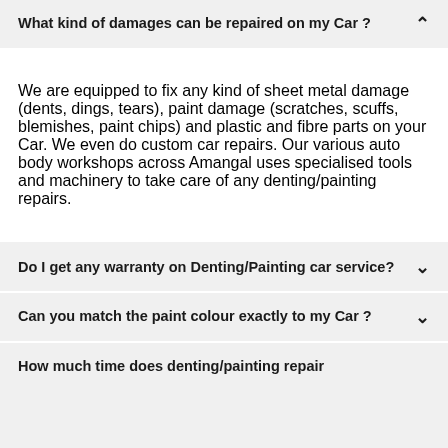What kind of damages can be repaired on my Car ?
We are equipped to fix any kind of sheet metal damage (dents, dings, tears), paint damage (scratches, scuffs, blemishes, paint chips) and plastic and fibre parts on your Car. We even do custom car repairs. Our various auto body workshops across Amangal uses specialised tools and machinery to take care of any denting/painting repairs.
Do I get any warranty on Denting/Painting car service?
Can you match the paint colour exactly to my Car ?
How much time does denting/painting repair